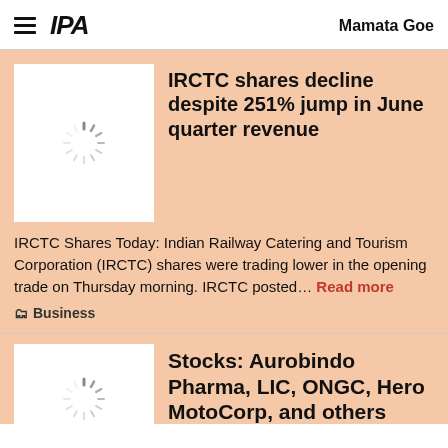IPA   Mamata Goe
IRCTC shares decline despite 251% jump in June quarter revenue
IRCTC Shares Today: Indian Railway Catering and Tourism Corporation (IRCTC) shares were trading lower in the opening trade on Thursday morning. IRCTC posted… Read more
Business
Stocks: Aurobindo Pharma, LIC, ONGC, Hero MotoCorp, and others